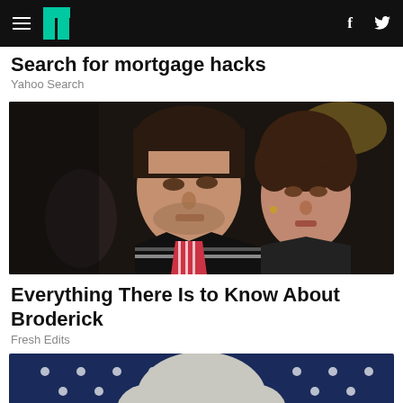HuffPost navigation bar with hamburger menu, logo, Facebook and Twitter icons
Search for mortgage hacks
Yahoo Search
[Figure (photo): Young man with dark hair wearing a varsity jacket with a young woman with curly hair behind him, vintage 1980s photo]
Everything There Is to Know About Broderick
Fresh Edits
[Figure (photo): Older white-haired man in front of American flag backdrop, partial view cropped at bottom of page]